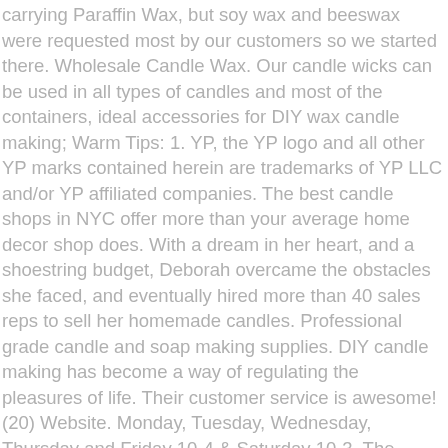carrying Paraffin Wax, but soy wax and beeswax were requested most by our customers so we started there. Wholesale Candle Wax. Our candle wicks can be used in all types of candles and most of the containers, ideal accessories for DIY wax candle making; Warm Tips: 1. YP, the YP logo and all other YP marks contained herein are trademarks of YP LLC and/or YP affiliated companies. The best candle shops in NYC offer more than your average home decor shop does. With a dream in her heart, and a shoestring budget, Deborah overcame the obstacles she faced, and eventually hired more than 40 sales reps to sell her homemade candles. Professional grade candle and soap making supplies. DIY candle making has become a way of regulating the pleasures of life. Their customer service is awesome! (20) Website. Monday, Tuesday, Wednesday, Thursday and Friday 10-4 & Saturday 10-3. The same great American Soy Organic waxes that candle makers know and love. We offer a full line of the finest candle making supplies, including fragrance oils, dyes, candle wicks, soy wax, kits, & more, all at wholesale prices with fast shipping. We currently carry over 375 high-quality candle fragrance oils for you to choose from. Although Natures Garden no longer sells finished candles (we sell the ingredients to make candles), it has always been Deborah's ambition to share her knowledge of candlemaking with